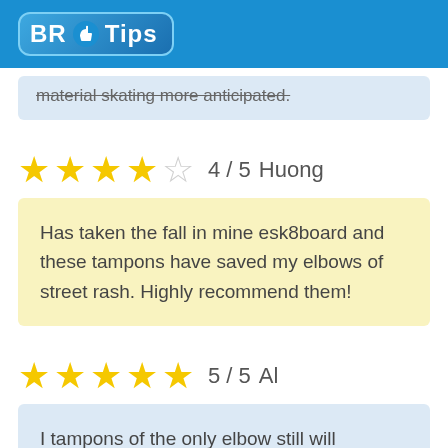BR Tips
material skating more anticipated.
4 / 5   Huong
Has taken the fall in mine esk8board and these tampons have saved my elbows of street rash. Highly recommend them!
5 / 5   Al
I tampons of the only elbow still will consider to spend. Another so only goes in a way and feel